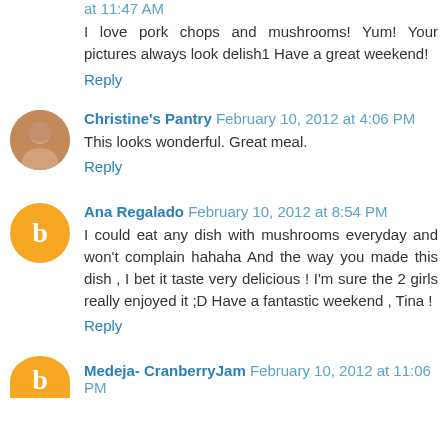at 11:47 AM
I love pork chops and mushrooms! Yum! Your pictures always look delish1 Have a great weekend!
Reply
Christine's Pantry  February 10, 2012 at 4:06 PM
This looks wonderful. Great meal.
Reply
Ana Regalado  February 10, 2012 at 8:54 PM
I could eat any dish with mushrooms everyday and won't complain hahaha And the way you made this dish , I bet it taste very delicious ! I'm sure the 2 girls really enjoyed it ;D Have a fantastic weekend , Tina !
Reply
Medeja- CranberryJam  February 10, 2012 at 11:06 PM